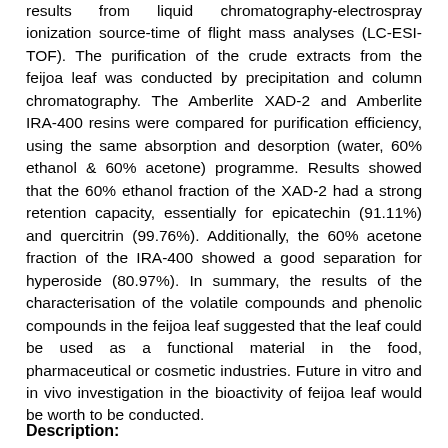results from liquid chromatography-electrospray ionization source-time of flight mass analyses (LC-ESI-TOF). The purification of the crude extracts from the feijoa leaf was conducted by precipitation and column chromatography. The Amberlite XAD-2 and Amberlite IRA-400 resins were compared for purification efficiency, using the same absorption and desorption (water, 60% ethanol & 60% acetone) programme. Results showed that the 60% ethanol fraction of the XAD-2 had a strong retention capacity, essentially for epicatechin (91.11%) and quercitrin (99.76%). Additionally, the 60% acetone fraction of the IRA-400 showed a good separation for hyperoside (80.97%). In summary, the results of the characterisation of the volatile compounds and phenolic compounds in the feijoa leaf suggested that the leaf could be used as a functional material in the food, pharmaceutical or cosmetic industries. Future in vitro and in vivo investigation in the bioactivity of feijoa leaf would be worth to be conducted.
Description: